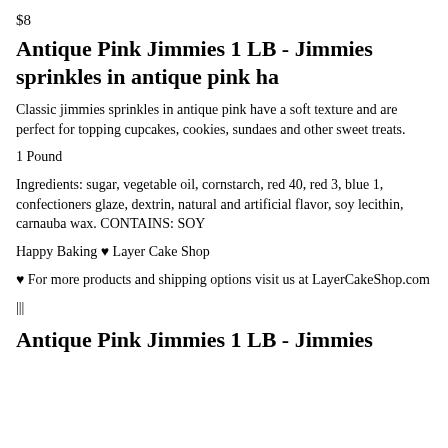$8
Antique Pink Jimmies 1 LB - Jimmies sprinkles in antique pink ha
Classic jimmies sprinkles in antique pink have a soft texture and are perfect for topping cupcakes, cookies, sundaes and other sweet treats.
1 Pound
Ingredients: sugar, vegetable oil, cornstarch, red 40, red 3, blue 1, confectioners glaze, dextrin, natural and artificial flavor, soy lecithin, carnauba wax. CONTAINS: SOY
Happy Baking ♥ Layer Cake Shop
♥ For more products and shipping options visit us at LayerCakeShop.com
|||
Antique Pink Jimmies 1 LB - Jimmies